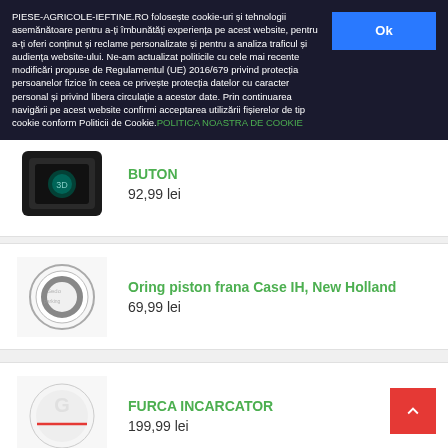PIESE-AGRICOLE-IEFTINE.RO folosește cookie-uri și tehnologii asemănătoare pentru a-ți îmbunătăți experiența pe acest website, pentru a-ți oferi conținut și reclame personalizate și pentru a analiza traficul și audiența website-ului. Ne-am actualizat politicile cu cele mai recente modificări propuse de Regulamentul (UE) 2016/679 privind protecția persoanelor fizice în ceea ce privește protecția datelor cu caracter personal și privind libera circulație a acestor date. Prin continuarea navigării pe acest website confirmi acceptarea utilizării fișierelor de tip cookie conform Politicii de Cookie.POLITICA NOASTRA DE COOKIE
[Figure (screenshot): Black electronic button/switch product image]
BUTON
92,99 lei
[Figure (photo): O-ring piston for Case IH, New Holland circular seal]
Oring piston frana Case IH, New Holland
69,99 lei
[Figure (photo): Furca incarcator loader fork product image with placeholder]
FURCA INCARCATOR
199,99 lei
[Figure (photo): Cruce cardan universal joint cross piece]
CRUCE CARDAN
164,99 lei
[Figure (photo): Inel cauciuc rubber ring/seal]
INEL CAUCIUC
18,99 lei